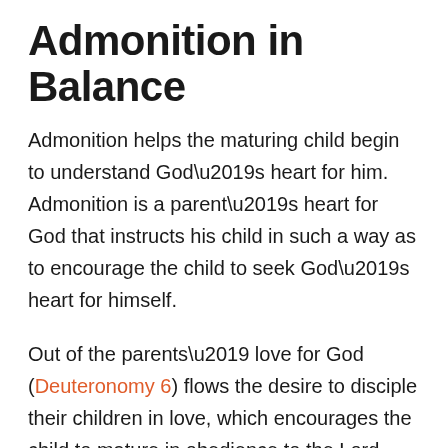Admonition in Balance
Admonition helps the maturing child begin to understand God’s heart for him. Admonition is a parent’s heart for God that instructs his child in such a way as to encourage the child to seek God’s heart for himself.
Out of the parents’ love for God (Deuteronomy 6) flows the desire to disciple their children in love, which encourages the child to mature in obedience to the Lord (John 14:15,21).